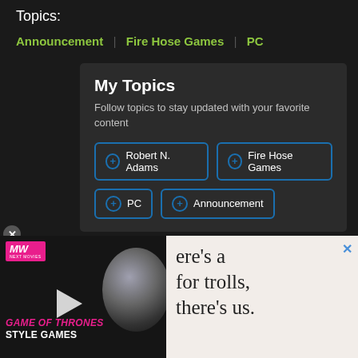Topics:
Announcement
Fire Hose Games
PC
My Topics
Follow topics to stay updated with your favorite content
+ Robert N. Adams
+ Fire Hose Games
+ PC
+ Announcement
[Figure (screenshot): Advertisement banner: MW logo (pink), Game of Thrones Style Games text, warrior character image with play button overlay on dark background, and text reading "here's a for trolls, there's us." on light background with X close button]